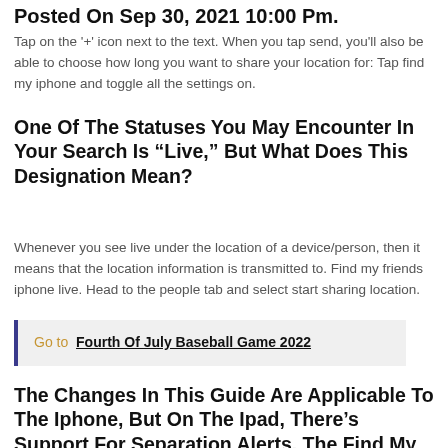Posted On Sep 30, 2021 10:00 Pm.
Tap on the '+' icon next to the text. When you tap send, you'll also be able to choose how long you want to share your location for: Tap find my iphone and toggle all the settings on.
One Of The Statuses You May Encounter In Your Search Is “Live,” But What Does This Designation Mean?
Whenever you see live under the location of a device/person, then it means that the location information is transmitted to. Find my friends iphone live. Head to the people tab and select start sharing location.
Go to  Fourth Of July Baseball Game 2022
The Changes In This Guide Are Applicable To The Iphone, But On The Ipad, There’s Support For Separation Alerts. The Find My...